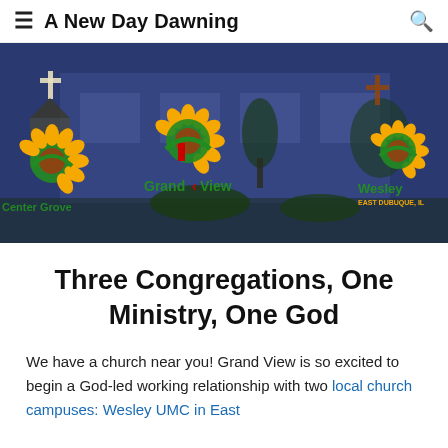A New Day Dawning
[Figure (photo): Hero banner image showing a church building with blue-tinted overlay. Three sunflower logos with church names are visible: Center Grove (left), Grand View (center), Wesley East Dubuque, IL (right).]
Three Congregations, One Ministry, One God
We have a church near you! Grand View is so excited to begin a God-led working relationship with two local church campuses: Wesley UMC in East…